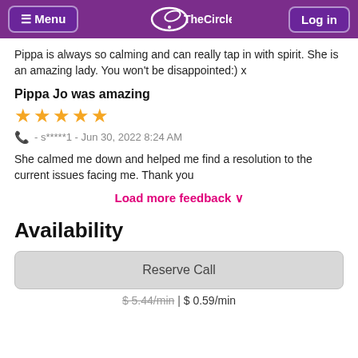Menu | TheCircle | Log in
Pippa is always so calming and can really tap in with spirit. She is an amazing lady. You won't be disappointed:) x
Pippa Jo was amazing
★★★★★
📞 - s*****1 - Jun 30, 2022 8:24 AM
She calmed me down and helped me find a resolution to the current issues facing me. Thank you
Load more feedback ∨
Availability
Reserve Call
$ 5.44/min | $ 0.59/min